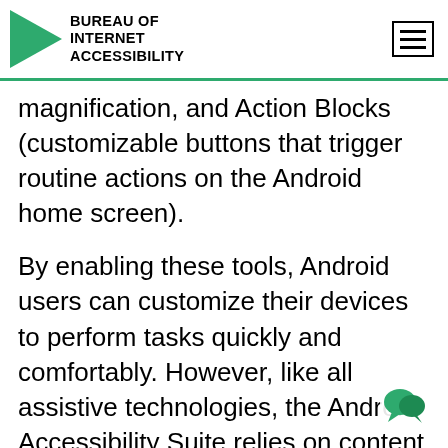BUREAU OF INTERNET ACCESSIBILITY
magnification, and Action Blocks (customizable buttons that trigger routine actions on the Android home screen).
By enabling these tools, Android users can customize their devices to perform tasks quickly and comfortably. However, like all assistive technologies, the Android Accessibility Suite relies on content creators. To ensure that your mobile app or website works with TalkBack and other tools, you'll need to follow the best practices of digital accessibility.